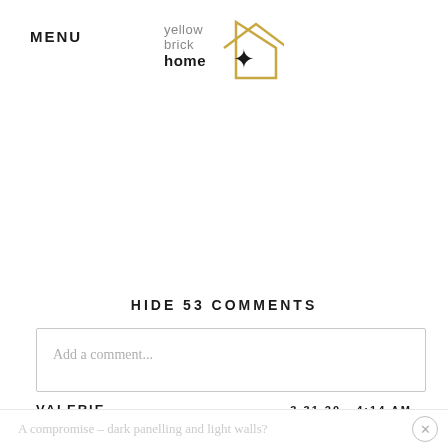MENU
[Figure (logo): Yellow Brick Home logo: text 'yellow brick home' next to a house outline with a star, in gold/dark colors]
HIDE 53 COMMENTS
Add a comment...
VALERIE    3.31.20 · 4:14 AM
A compromise – dark panelling and light walls?